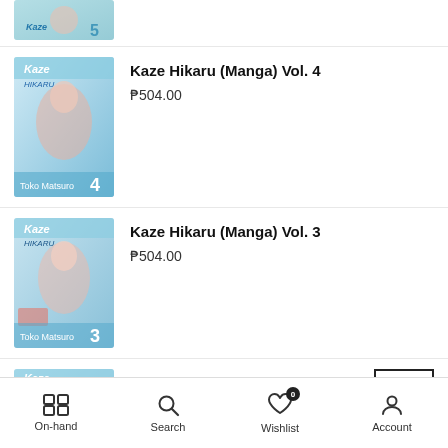[Figure (screenshot): Partial top of a manga book cover (Kaze Hikaru Vol. 5 or similar), cropped at top]
Kaze Hikaru (Manga) Vol. 4
₱504.00
Kaze Hikaru (Manga) Vol. 3
₱504.00
Kaze Hikaru (Manga) Vol. 2
₱504.00
On-hand  Search  Wishlist  Account